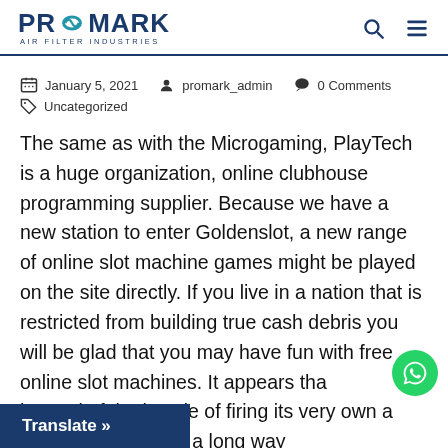PROMARK AIR FILTER INDUSTRIES
January 5, 2021   promark_admin   0 Comments   Uncategorized
The same as with the Microgaming, PlayTech is a huge organization, online clubhouse programming supplier. Because we have a new station to enter Goldenslot, a new range of online slot machine games might be played on the site directly. If you live in a nation that is restricted from building true cash debris you will be glad that you may have fun with free online slot machines. It appears that instead of the hassle of firing its very own a lawsuit, FIFA would a long way somewhat find native laws businesses essentially will through the offender process of